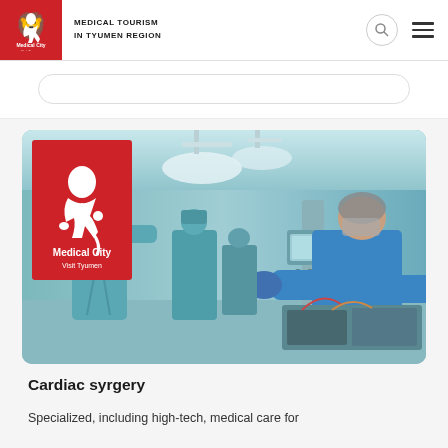MEDICAL TOURISM IN TYUMEN REGION
[Figure (photo): Operating room scene with surgeons and medical staff in blue scrubs performing cardiac surgery, with medical equipment visible. Medical City logo overlay in top-left of image.]
Cardiac syrgery
Specialized, including high-tech, medical care for